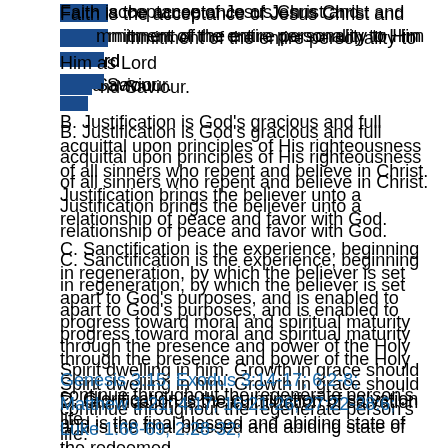…repentance is a genuine turning from sin toward God. Faith is the acceptance of Jesus Christ and commitment of the entire personality to Him as Lord and Saviour.
B. Justification is God's gracious and full acquittal upon principles of His righteousness of all sinners who repent and believe in Christ. Justification brings the believer unto a relationship of peace and favor with God.
C. Sanctification is the experience, beginning in regeneration, by which the believer is set apart to God's purposes, and is enabled to progress toward moral and spiritual maturity through the presence and power of the Holy Spirit dwelling in him. Growth in grace should continue throughout the regenerate person's life.
D. Glorification is the culmination of salvation and is the final blessed and abiding state of the redeemed.
Genesis 3:15; Exodus 3:14-17; 6:2-8; Matthew 1:21; 4:17; 16:21-26; 27:22-28:6; Luke 1:68-69; 2:28-32; …